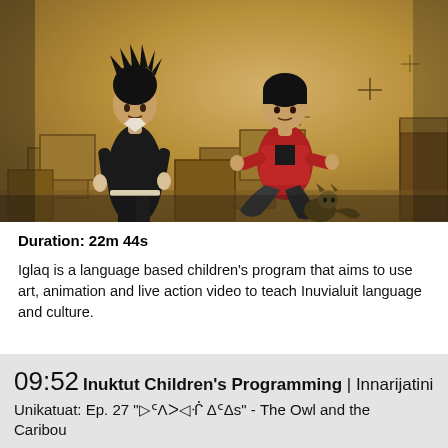[Figure (illustration): Animated/illustrated scene showing two child-like figures in a stylized interior setting with boxes. One figure stands on the left wearing dark clothes with spiky hair; the other sits on the right wearing a red jacket, with a small animal nearby. Warm golden-brown background with cross/star decorative marks.]
Duration: 22m 44s
Iglaq is a language based children's program that aims to use art, animation and live action video to teach Inuvialuit language and culture.
09:52 Inuktut Children's Programming | Innarijatini Unikatuat: Ep. 27 "▷ᑦΛᐳ◁ᒖ ΔᑦΔѕ" - The Owl and the Caribou